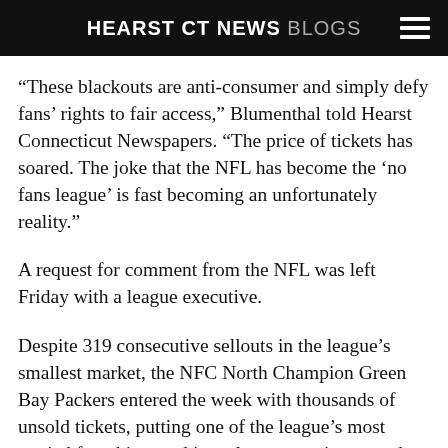HEARST CT NEWS BLOGS
“These blackouts are anti-consumer and simply defy fans’ rights to fair access,” Blumenthal told Hearst Connecticut Newspapers. “The price of tickets has soared. The joke that the NFL has become the ‘no fans league’ is fast becoming an unfortunately reality.”
A request for comment from the NFL was left Friday with a league executive.
Despite 319 consecutive sellouts in the league’s smallest market, the NFC North Champion Green Bay Packers entered the week with thousands of unsold tickets, putting one of the league’s most storied franchises and its only community-owned team at risk of a blackout Sunday against the San Francisco 49ers.